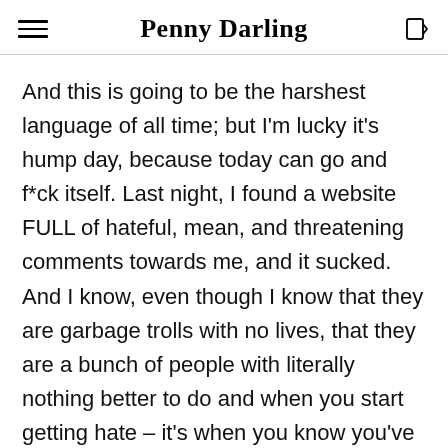Penny Darling
And this is going to be the harshest language of all time; but I'm lucky it's hump day, because today can go and f*ck itself. Last night, I found a website FULL of hateful, mean, and threatening comments towards me, and it sucked. And I know, even though I know that they are garbage trolls with no lives, that they are a bunch of people with literally nothing better to do and when you start getting hate – it's when you know you've made it, blah blah blah.
But you know what else? It sucks. Like